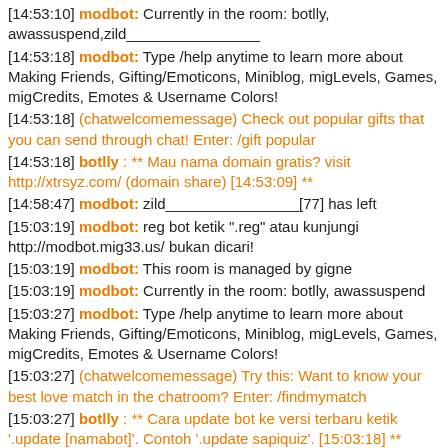[14:53:10] modbot: Currently in the room: botlly, awassuspend,zild________________
[14:53:18] modbot: Type /help anytime to learn more about Making Friends, Gifting/Emoticons, Miniblog, migLevels, Games, migCredits, Emotes & Username Colors!
[14:53:18] (chatwelcomemessage) Check out popular gifts that you can send through chat! Enter: /gift popular
[14:53:18] botlly : ** Mau nama domain gratis? visit http://xtrsyz.com/ (domain share) [14:53:09] **
[14:58:47] modbot: zild________________[77] has left
[15:03:19] modbot: reg bot ketik ".reg" atau kunjungi http://modbot.mig33.us/ bukan dicari!
[15:03:19] modbot: This room is managed by gigne
[15:03:19] modbot: Currently in the room: botlly, awassuspend
[15:03:27] modbot: Type /help anytime to learn more about Making Friends, Gifting/Emoticons, Miniblog, migLevels, Games, migCredits, Emotes & Username Colors!
[15:03:27] (chatwelcomemessage) Try this: Want to know your best love match in the chatroom? Enter: /findmymatch
[15:03:27] botlly : ** Cara update bot ke versi terbaru ketik '.update [namabot]'. Contoh '.update sapiquiz'. [15:03:18] **